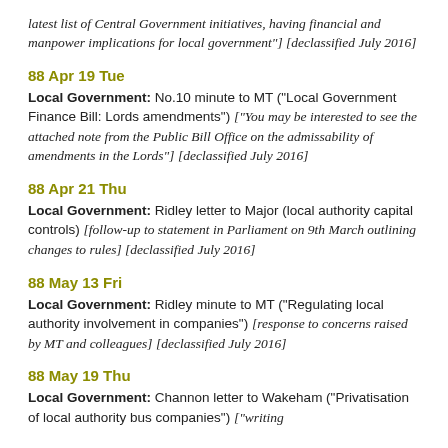latest list of Central Government initiatives, having financial and manpower implications for local government"] [declassified July 2016]
88 Apr 19 Tue
Local Government: No.10 minute to MT ("Local Government Finance Bill: Lords amendments") ["You may be interested to see the attached note from the Public Bill Office on the admissability of amendments in the Lords"] [declassified July 2016]
88 Apr 21 Thu
Local Government: Ridley letter to Major (local authority capital controls) [follow-up to statement in Parliament on 9th March outlining changes to rules] [declassified July 2016]
88 May 13 Fri
Local Government: Ridley minute to MT ("Regulating local authority involvement in companies") [response to concerns raised by MT and colleagues] [declassified July 2016]
88 May 19 Thu
Local Government: Channon letter to Wakeham ("Privatisation of local authority bus companies") ["writing ...